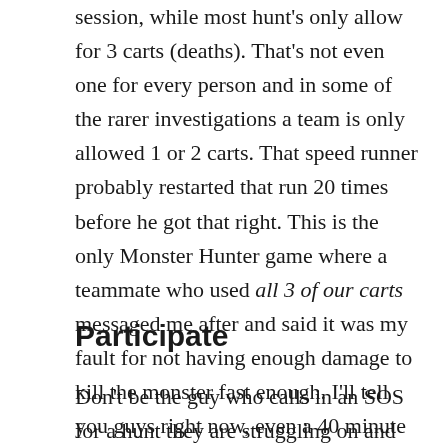session, while most hunt's only allow for 3 carts (deaths). That's not even one for every person and in some of the rarer investigations a team is only allowed 1 or 2 carts. That speed runner probably restarted that run 20 times before he got that right. This is the only Monster Hunter game where a teammate who used all 3 of our carts messaged me after and said it was my fault for not having enough damage to kill the monster fast enough. I'll tell you guys right now, even a 40 minute hunt that ends in success feels better than a 5 minute hunt that ends in failure.
Participate
Don't be the guy who calls in an SOS for a hunt they are struggling on and then just sits at base and waits for the other party members to handle the situation. This is